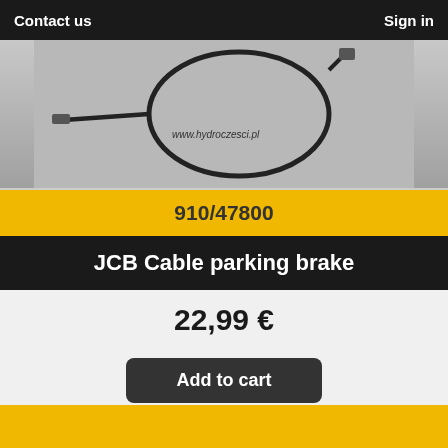Contact us   Sign in
[Figure (photo): Product photo showing a JCB cable parking brake with a circular wire/cable component against a grey background. Watermark text 'www.hydroczesci.pl' visible.]
910/47800
JCB Cable parking brake
22,99 €
Add to cart
Our webstore uses cookies to offer a better user experience and we recommend you to accept their use to fully enjoy your navigation.
Accept   More info   Reject